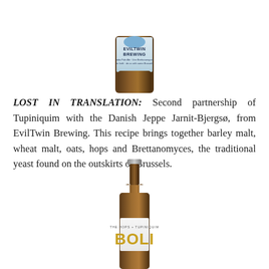[Figure (photo): Beer bottle with EvilTwin Brewing label, cropped at top of page showing bottle and label with text 'EVILTWIN BREWING']
LOST IN TRANSLATION: Second partnership of Tupiniquim with the Danish Jeppe Jarnit-Bjergsø, from EvilTwin Brewing. This recipe brings together barley malt, wheat malt, oats, hops and Brettanomyces, the traditional yeast found on the outskirts of Brussels.
[Figure (photo): Brown glass beer bottle with white label showing 'BOLI' in gold/yellow letters, cap visible at top, bottom of bottle cropped]